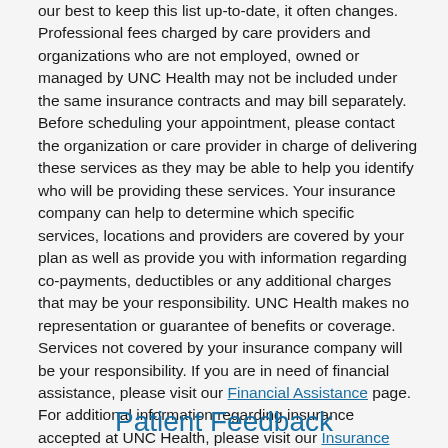our best to keep this list up-to-date, it often changes. Professional fees charged by care providers and organizations who are not employed, owned or managed by UNC Health may not be included under the same insurance contracts and may bill separately. Before scheduling your appointment, please contact the organization or care provider in charge of delivering these services as they may be able to help you identify who will be providing these services. Your insurance company can help to determine which specific services, locations and providers are covered by your plan as well as provide you with information regarding co-payments, deductibles or any additional charges that may be your responsibility. UNC Health makes no representation or guarantee of benefits or coverage. Services not covered by your insurance company will be your responsibility. If you are in need of financial assistance, please visit our Financial Assistance page. For additional information regarding insurance accepted at UNC Health, please visit our Insurance page.
Patient Feedback